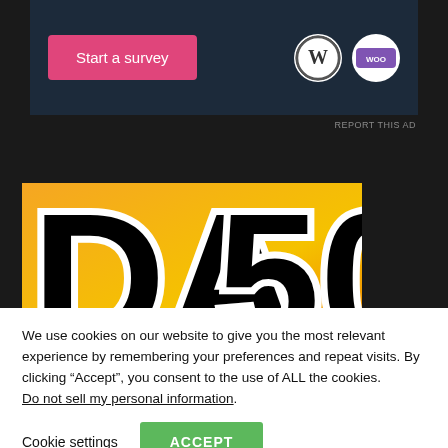[Figure (screenshot): Advertisement banner with 'Start a survey' pink button, WordPress logo and WooCommerce logo on dark blue background]
REPORT THIS AD
[Figure (screenshot): DA50 text on orange gradient background, large bold black text with white outline]
We use cookies on our website to give you the most relevant experience by remembering your preferences and repeat visits. By clicking “Accept”, you consent to the use of ALL the cookies.
Do not sell my personal information.
Cookie settings
ACCEPT